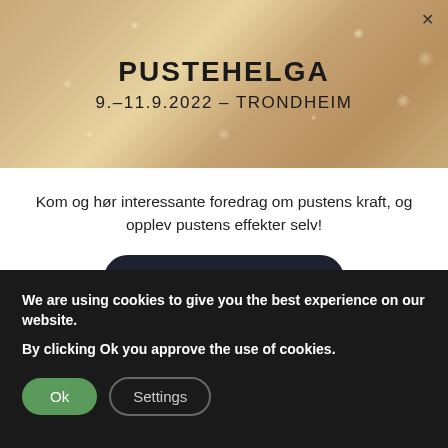[Figure (photo): Hero banner with warm golden bokeh background]
PUSTEHELGA
9.–11.9.2022 – TRONDHEIM
Kom og hør interessante foredrag om pustens kraft, og opplev pustens effekter selv!
GET TICKETS
Functional Breathing vs Pranayama vs Breathwork
What is the difference between functional
We are using cookies to give you the best experience on our website.
By clicking Ok you approve the use of cookies.
Ok
Settings